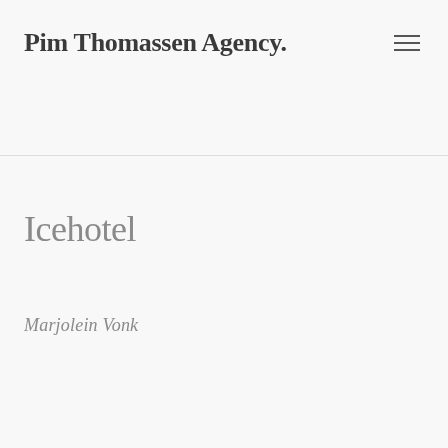Pim Thomassen Agency.
Icehotel
Marjolein Vonk